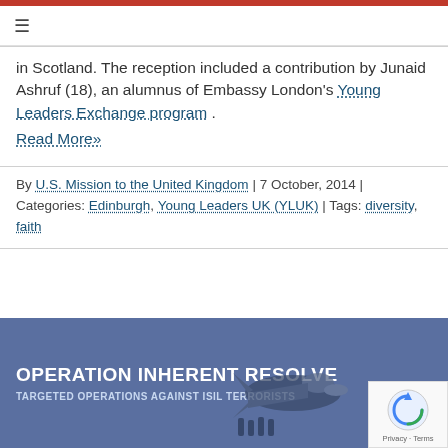≡
in Scotland. The reception included a contribution by Junaid Ashruf (18), an alumnus of Embassy London's Young Leaders Exchange program . Read More»
By U.S. Mission to the United Kingdom | 7 October, 2014 | Categories: Edinburgh, Young Leaders UK (YLUK) | Tags: diversity, faith
[Figure (infographic): Banner for Operation Inherent Resolve - Targeted Operations Against ISIL Terrorists, with blue background and military aircraft image]